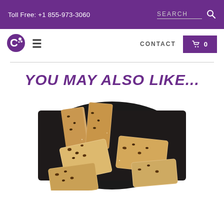Toll Free: +1 855-973-3060   SEARCH
[Figure (logo): Purple stylized C logo icon]
CONTACT   🛒 0
YOU MAY ALSO LIKE...
[Figure (photo): Sliced biscotti pieces arranged on a dark round pan, showing chocolate chip texture]